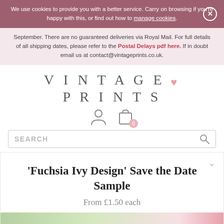We use cookies to provide you with a better service. Carry on browsing if you're happy with this, or find out how to manage cookies.
September. There are no guaranteed deliveries via Royal Mail. For full details of all shipping dates, please refer to the Postal Delays pdf here. If in doubt email us at contact@vintageprints.co.uk.
[Figure (logo): VINTAGE PRINTS logo with pink heart between the two words]
[Figure (infographic): User account icon and shopping cart icon with badge showing 0]
SEARCH
'Fuchsia Ivy Design' Save the Date Sample
From £1.50 each
[Figure (photo): Partial product image showing fuchsia ivy save the date card]